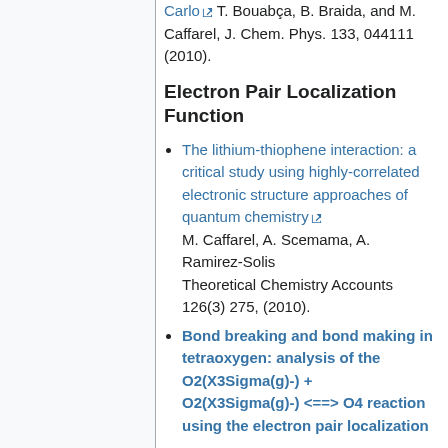Carlo T. Bouabça, B. Braida, and M. Caffarel, J. Chem. Phys. 133, 044111 (2010).
Electron Pair Localization Function
The lithium-thiophene interaction: a critical study using highly-correlated electronic structure approaches of quantum chemistry M. Caffarel, A. Scemama, A. Ramirez-Solis Theoretical Chemistry Accounts 126(3) 275, (2010).
Bond breaking and bond making in tetraoxygen: analysis of the O2(X3Sigma(g)-) + O2(X3Sigma(g)-) <==> O4 reaction using the electron pair localization